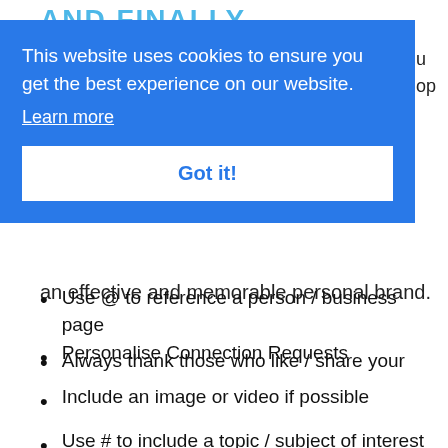AND FINALLY...
[Figure (screenshot): Cookie consent banner overlay with blue background showing 'This website uses cookies to ensure you get the best experience on our website.' with 'Learn more' link and 'Got it!' button]
effective and memorable personal brand.
Personalise Connection Requests
Include an image or video if possible
Use # to include a topic / subject of interest
Use @ to reference a person / business page
Always thank those who like / share your